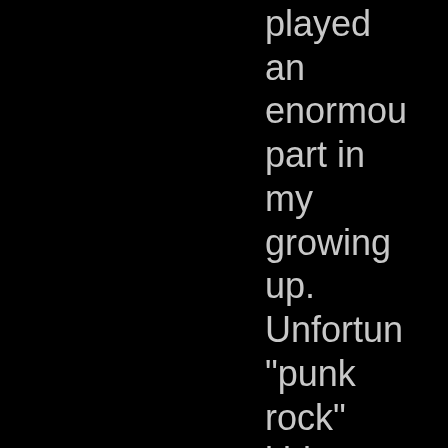played an enormou part in my growing up. Unfortun "punk rock" kids today generally don't have a clue about these bands that really paved the way